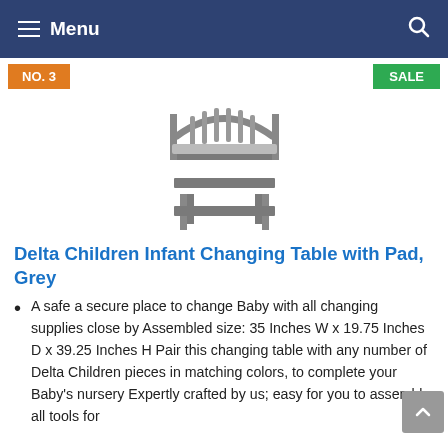Menu
NO. 3
SALE
[Figure (photo): Grey infant changing table with two lower shelves and a slatted headboard, shown on a white background.]
Delta Children Infant Changing Table with Pad, Grey
A safe a secure place to change Baby with all changing supplies close by Assembled size: 35 Inches W x 19.75 Inches D x 39.25 Inches H Pair this changing table with any number of Delta Children pieces in matching colors, to complete your Baby's nursery Expertly crafted by us; easy for you to assemble all tools for